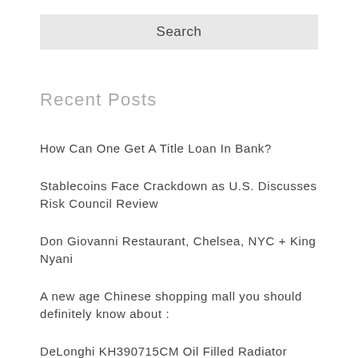[Figure (other): Search bar UI element with text 'Search' on a light gray background]
Recent Posts
How Can One Get A Title Loan In Bank?
Stablecoins Face Crackdown as U.S. Discusses Risk Council Review
Don Giovanni Restaurant, Chelsea, NYC + King Nyani
A new age Chinese shopping mall you should definitely know about :
DeLonghi KH390715CM Oil Filled Radiator